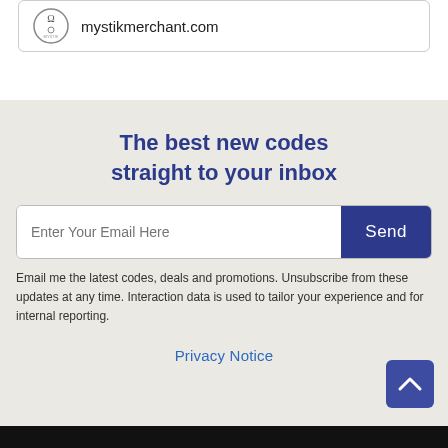[Figure (logo): Mystik Merchant logo with circular emblem]
mystikmerchant.com
The best new codes straight to your inbox
Enter Your Email Here
Send
Email me the latest codes, deals and promotions. Unsubscribe from these updates at any time. Interaction data is used to tailor your experience and for internal reporting.
Privacy Notice